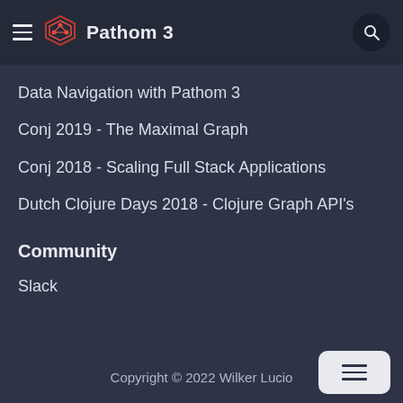Pathom 3
Data Navigation with Pathom 3
Conj 2019 - The Maximal Graph
Conj 2018 - Scaling Full Stack Applications
Dutch Clojure Days 2018 - Clojure Graph API's
Community
Slack
Copyright © 2022 Wilker Lucio